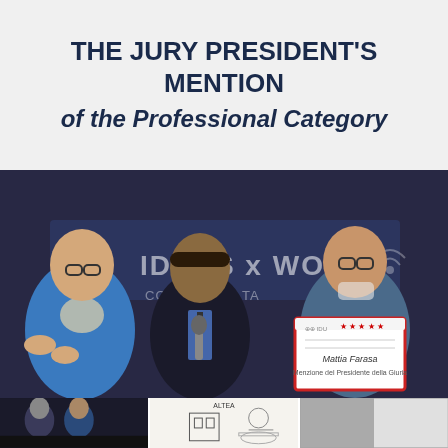THE JURY PRESIDENT'S MENTION of the Professional Category
[Figure (photo): Three men on a stage at an awards ceremony. A man in a blue jacket on the left applauds, a man in the center holds a microphone, and a man on the right holds a framed award certificate. A banner in the background reads 'IDEAS x WOOD CONTEST BY TA...']
[Figure (photo): Bottom strip of three smaller thumbnail photos: left shows people on a stage, center shows what appears to be architectural or design drawings, right shows grey color swatches or material samples.]